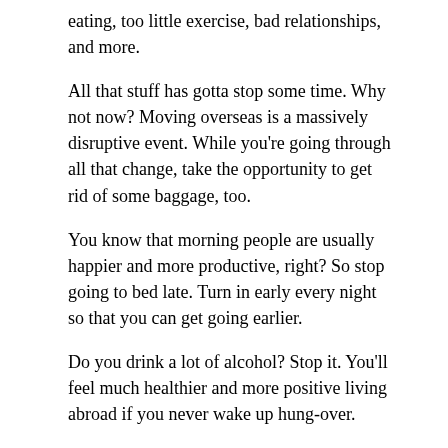eating, too little exercise, bad relationships, and more.
All that stuff has gotta stop some time. Why not now? Moving overseas is a massively disruptive event. While you're going through all that change, take the opportunity to get rid of some baggage, too.
You know that morning people are usually happier and more productive, right? So stop going to bed late. Turn in early every night so that you can get going earlier.
Do you drink a lot of alcohol? Stop it. You'll feel much healthier and more positive living abroad if you never wake up hung-over.
Within a few days of arriving overseas, make a list of bad habits you've fallen into and other things that you want to change. Then, promise yourself that you'll work on changing all of those things. Start right away. The more